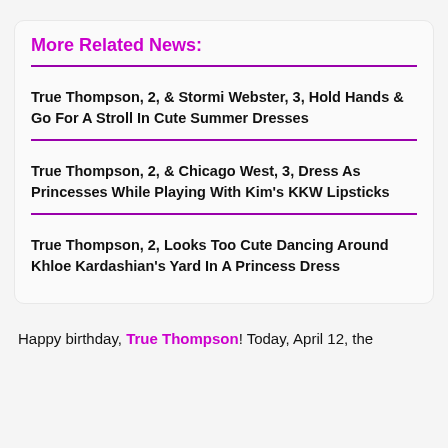More Related News:
True Thompson, 2, & Stormi Webster, 3, Hold Hands & Go For A Stroll In Cute Summer Dresses
True Thompson, 2, & Chicago West, 3, Dress As Princesses While Playing With Kim's KKW Lipsticks
True Thompson, 2, Looks Too Cute Dancing Around Khloe Kardashian's Yard In A Princess Dress
Happy birthday, True Thompson! Today, April 12, the